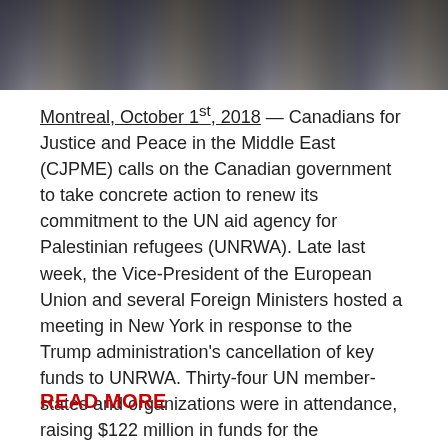[Figure (photo): Photograph of people at a protest or gathering, showing figures in jackets from a low angle]
Montreal, October 1st, 2018 — Canadians for Justice and Peace in the Middle East (CJPME) calls on the Canadian government to take concrete action to renew its commitment to the UN aid agency for Palestinian refugees (UNRWA). Late last week, the Vice-President of the European Union and several Foreign Ministers hosted a meeting in New York in response to the Trump administration's cancellation of key funds to UNRWA. Thirty-four UN member-states and organizations were in attendance, raising $122 million in funds for the organization. Canada was notably absent from this meeting.
READ MORE